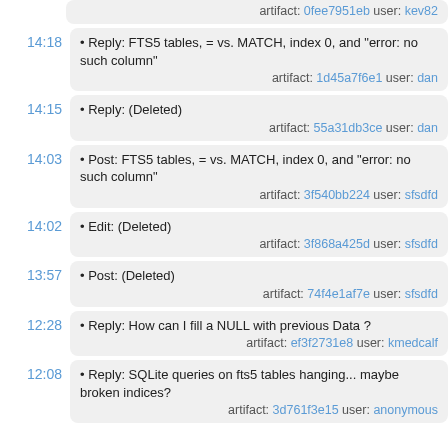tables  artifact: 0fee7951eb user: kev82
14:18 • Reply: FTS5 tables, = vs. MATCH, index 0, and "error: no such column"  artifact: 1d45a7f6e1 user: dan
14:15 • Reply: (Deleted)  artifact: 55a31db3ce user: dan
14:03 • Post: FTS5 tables, = vs. MATCH, index 0, and "error: no such column"  artifact: 3f540bb224 user: sfsdfd
14:02 • Edit: (Deleted)  artifact: 3f868a425d user: sfsdfd
13:57 • Post: (Deleted)  artifact: 74f4e1af7e user: sfsdfd
12:28 • Reply: How can I fill a NULL with previous Data ?  artifact: ef3f2731e8 user: kmedcalf
12:08 • Reply: SQLite queries on fts5 tables hanging... maybe broken indices?  artifact: 3d761f3e15 user: anonymous